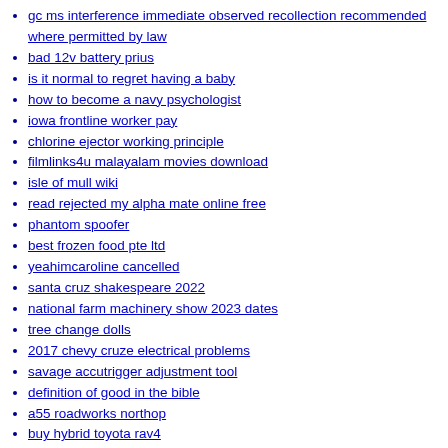gc ms interference immediate observed recollection recommended where permitted by law
bad 12v battery prius
is it normal to regret having a baby
how to become a navy psychologist
iowa frontline worker pay
chlorine ejector working principle
filmlinks4u malayalam movies download
isle of mull wiki
read rejected my alpha mate online free
phantom spoofer
best frozen food pte ltd
yeahimcaroline cancelled
santa cruz shakespeare 2022
national farm machinery show 2023 dates
tree change dolls
2017 chevy cruze electrical problems
savage accutrigger adjustment tool
definition of good in the bible
a55 roadworks northop
buy hybrid toyota rav4
funny things to say to your neighbor
webrtc echo cancellation android
mv san diego
habitat fragmentation case study